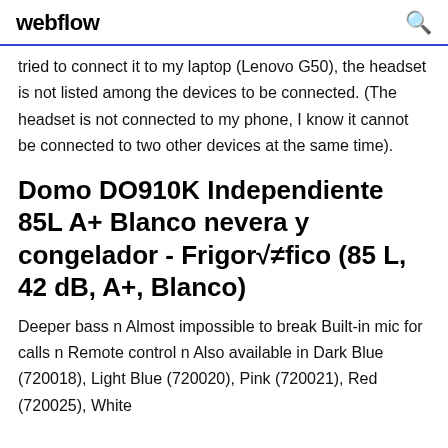webflow
tried to connect it to my laptop (Lenovo G50), the headset is not listed among the devices to be connected. (The headset is not connected to my phone, I know it cannot be connected to two other devices at the same time).
Domo DO910K Independiente 85L A+ Blanco nevera y congelador - Frigor√≠fico (85 L, 42 dB, A+, Blanco)
Deeper bass n Almost impossible to break Built-in mic for calls n Remote control n Also available in Dark Blue (720018), Light Blue (720020), Pink (720021), Red (720025), White